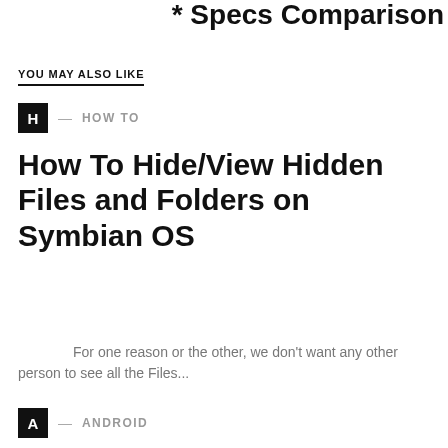* Specs Comparison
YOU MAY ALSO LIKE
H — HOW TO
How To Hide/View Hidden Files and Folders on Symbian OS
For one reason or the other, we don't want any other person to see all the Files...
A — ANDROID